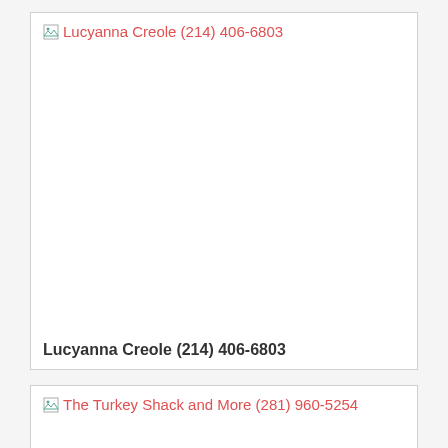[Figure (other): Listing card for Lucyanna Creole with broken image placeholder and red link text showing business name and phone number (214) 406-6803, with caption text below]
Lucyanna Creole (214) 406-6803
[Figure (other): Listing card for The Turkey Shack and More with broken image placeholder and red link text showing business name and phone number (281) 960-5254]